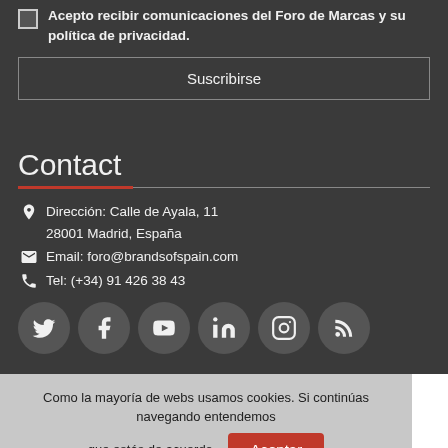Acepto recibir comunicaciones del Foro de Marcas y su política de privacidad.
Suscribirse
Contact
Dirección: Calle de Ayala, 11
28001 Madrid, España
Email: foro@brandsofspain.com
Tel: (+34) 91 426 38 43
[Figure (illustration): Row of social media icons: Twitter, Facebook, YouTube, LinkedIn, Instagram, RSS]
Como la mayoría de webs usamos cookies. Si continúas navegando entendemos que estás de acuerdo.
Aceptar
Puedes encontrar más información sobre las cookies aquí